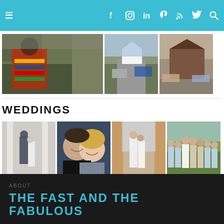Navigation bar with hamburger menu and social icons: facebook, instagram, linkedin, pinterest, rss, twitter, search
[Figure (photo): Racing event photo showing person in racing gear with colorful sponsor logos, crowd in background]
[Figure (photo): Street scene with tent/canopy and cars on road]
[Figure (photo): Barn or rustic building with cars parked outside]
WEDDINGS
[Figure (photo): Wedding couple kissing near white columns]
[Figure (photo): Smiling couple selfie, man in dark shirt, woman with blonde hair]
[Figure (photo): Wedding ceremony under draped canopy, couple standing]
[Figure (photo): Wedding party walking outdoors on grass, bridesmaids and groomsmen]
ABOUT
THE FAST AND THE FABULOUS